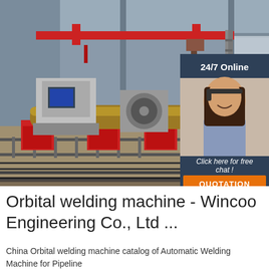[Figure (photo): Industrial factory floor showing an orbital welding machine setup with red supports and a large pipe on rails, overhead crane visible. Overlaid with a customer service chat widget showing a headset-wearing woman, '24/7 Online' label, 'Click here for free chat!' text, and an orange 'QUOTATION' button.]
Orbital welding machine - Wincoo Engineering Co., Ltd ...
China Orbital welding machine catalog of Automatic Welding Machine for Pipeline